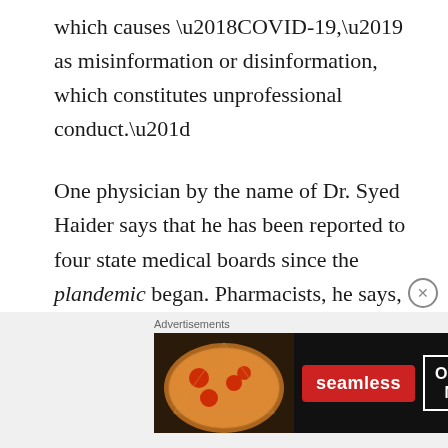which causes ‘COVID-19,’ as misinformation or disinformation, which constitutes unprofessional conduct.”
One physician by the name of Dr. Syed Haider says that he has been reported to four state medical boards since the plandemic began. Pharmacists, he says, “don’t like filling ivermectin prescriptions,” and when they are asked to, some of them suffer meltdowns that can only be described as Ivermectin Derangement Syndrome
[Figure (screenshot): Seamless food delivery advertisement banner with pizza image, red Seamless logo button, and ORDER NOW text in white border box on dark background]